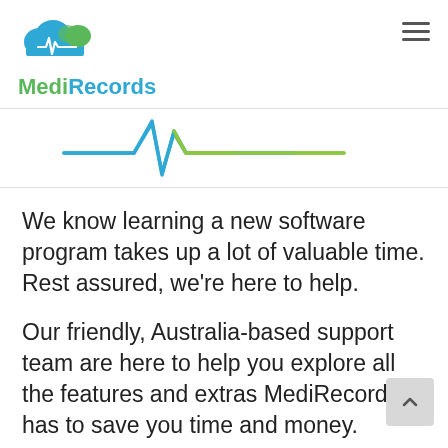[Figure (logo): MediRecords logo with cloud and ECG heartbeat icon, text 'MediRecords' with 'Medi' in green and 'Records' in blue]
[Figure (illustration): ECG/heartbeat waveform graphic in teal/blue and green colors, styled as a medical monitor trace]
We know learning a new software program takes up a lot of valuable time. Rest assured, we're here to help.
Our friendly, Australia-based support team are here to help you explore all the features and extras MediRecords has to save you time and money.
We also have an extensive online learning 'knowledgebase' if you are the sort who